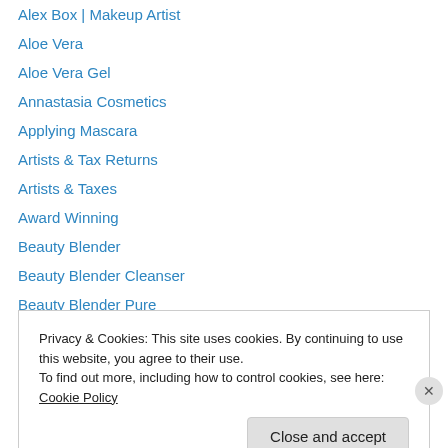Alex Box | Makeup Artist
Aloe Vera
Aloe Vera Gel
Annastasia Cosmetics
Applying Mascara
Artists & Tax Returns
Artists & Taxes
Award Winning
Beauty Blender
Beauty Blender Cleanser
Beauty Blender Pure
Beauty Books
Beauty Pagent
Privacy & Cookies: This site uses cookies. By continuing to use this website, you agree to their use.
To find out more, including how to control cookies, see here: Cookie Policy